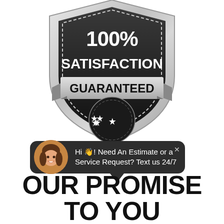[Figure (illustration): 100% Satisfaction Guaranteed badge/shield logo with silver shield, black inner shield, dashed border, ribbon banner reading GUARANTEED, and stars at the bottom]
Hi 👋! Need An Estimate or a Service Request? Text us 24/7
OUR PROMISE TO YOU